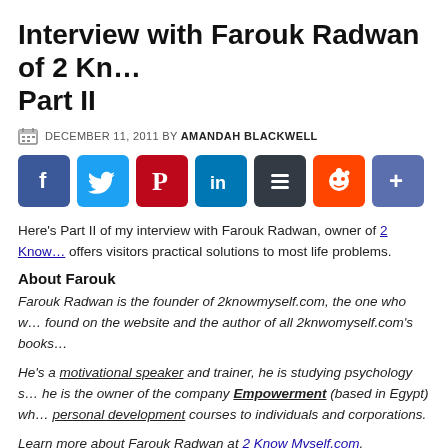Interview with Farouk Radwan of 2 Kn… Part II
DECEMBER 11, 2011 BY AMANDAH BLACKWELL
[Figure (infographic): Social media share buttons: Facebook, Twitter, Pinterest, LinkedIn, Buffer, Reddit, Share]
Here's Part II of my interview with Farouk Radwan, owner of 2 Know… offers visitors practical solutions to most life problems.
About Farouk
Farouk Radwan is the founder of 2knowmyself.com, the one who w… found on the website and the author of all 2knwomyself.com's books…
He's a motivational speaker and trainer, he is studying psychology s… he is the owner of the company Empowerment (based in Egypt) wh… personal development courses to individuals and corporations.
Learn more about Farouk Radwan at 2 Know Myself.com.
Interview Questions